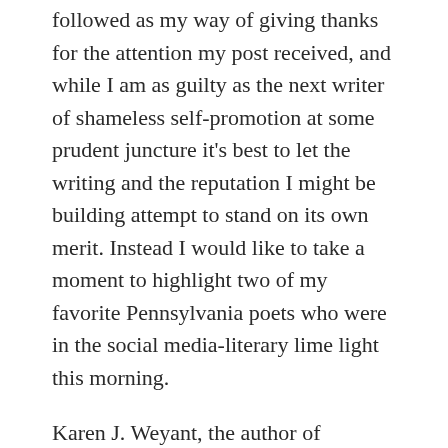followed as my way of giving thanks for the attention my post received, and while I am as guilty as the next writer of shameless self-promotion at some prudent juncture it's best to let the writing and the reputation I might be building attempt to stand on its own merit. Instead I would like to take a moment to highlight two of my favorite Pennsylvania poets who were in the social media-literary lime light this morning.
Karen J. Weyant, the author of Wearing High Heels in the Rust Belt and Stealing Dust, is a two-feet-on-the-ground kind of poet whom I had the privilege of meeting a while back when she came to speak at Bloomsburg University. You can find links to more of her work on her